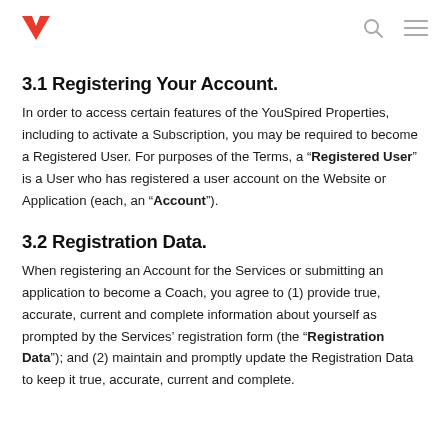YouSpired logo, search icon, menu icon
3.1 Registering Your Account.
In order to access certain features of the YouSpired Properties, including to activate a Subscription, you may be required to become a Registered User. For purposes of the Terms, a “Registered User” is a User who has registered a user account on the Website or Application (each, an “Account”).
3.2 Registration Data.
When registering an Account for the Services or submitting an application to become a Coach, you agree to (1) provide true, accurate, current and complete information about yourself as prompted by the Services’ registration form (the “Registration Data”); and (2) maintain and promptly update the Registration Data to keep it true, accurate, current and complete.